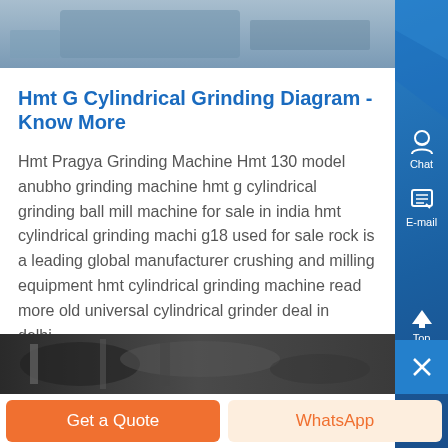[Figure (photo): Partial view of grinding machine equipment at the top of the page]
Hmt G Cylindrical Grinding Diagram - Know More
Hmt Pragya Grinding Machine Hmt 130 model anubho grinding machine hmt g cylindrical grinding ball mill machine for sale in india hmt cylindrical grinding machi g18 used for sale rock is a leading global manufacturer crushing and milling equipment hmt cylindrical grinding machine read more old universal cylindrical grinder deal in delhi...
[Figure (photo): Bottom partial view of industrial grinding machinery]
Get a Quote
WhatsApp